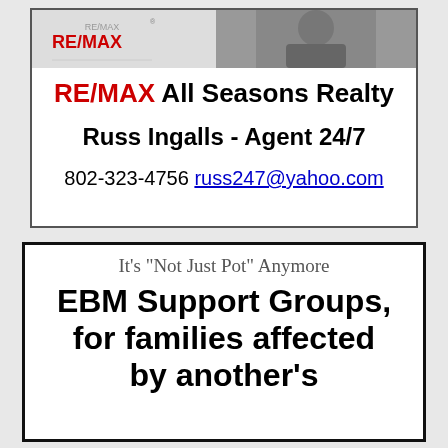[Figure (other): RE/MAX All Seasons Realty advertisement with logo and agent photo at top, showing agent Russ Ingalls]
RE/MAX All Seasons Realty
Russ Ingalls - Agent 24/7
802-323-4756 russ247@yahoo.com
[Figure (other): EBM Support Groups advertisement - It's 'Not Just Pot' Anymore - EBM Support Groups, for families affected by another's]
It's "Not Just Pot" Anymore
EBM Support Groups, for families affected by another's